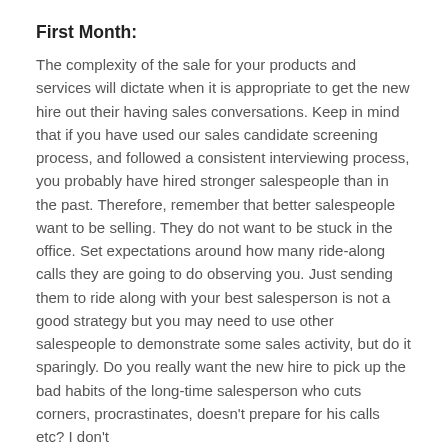First Month:
The complexity of the sale for your products and services will dictate when it is appropriate to get the new hire out their having sales conversations. Keep in mind that if you have used our sales candidate screening process, and followed a consistent interviewing process, you probably have hired stronger salespeople than in the past. Therefore, remember that better salespeople want to be selling. They do not want to be stuck in the office. Set expectations around how many ride-along calls they are going to do observing you. Just sending them to ride along with your best salesperson is not a good strategy but you may need to use other salespeople to demonstrate some sales activity, but do it sparingly. Do you really want the new hire to pick up the bad habits of the long-time salesperson who cuts corners, procrastinates, doesn't prepare for his calls etc? I don't think so. If the new hire will do the activity their initial benchmark...